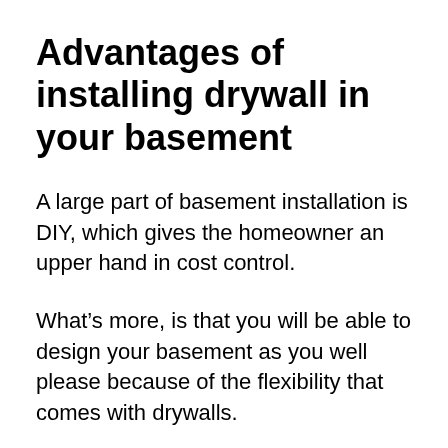Advantages of installing drywall in your basement
A large part of basement installation is DIY, which gives the homeowner an upper hand in cost control.
What’s more, is that you will be able to design your basement as you well please because of the flexibility that comes with drywalls.
Drywalls are not only convenient for use on